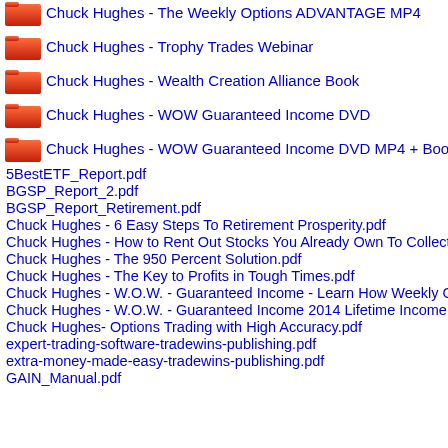Chuck Hughes - The Weekly Options ADVANTAGE MP4
Chuck Hughes - Trophy Trades Webinar
Chuck Hughes - Wealth Creation Alliance Book
Chuck Hughes - WOW Guaranteed Income DVD
Chuck Hughes - WOW Guaranteed Income DVD MP4 + Book
5BestETF_Report.pdf
BGSP_Report_2.pdf
BGSP_Report_Retirement.pdf
Chuck Hughes - 6 Easy Steps To Retirement Prosperity.pdf
Chuck Hughes - How to Rent Out Stocks You Already Own To Collect I
Chuck Hughes - The 950 Percent Solution.pdf
Chuck Hughes - The Key to Profits in Tough Times.pdf
Chuck Hughes - W.O.W. - Guaranteed Income - Learn How Weekly Op
Chuck Hughes - W.O.W. - Guaranteed Income 2014 Lifetime Income Sy
Chuck Hughes- Options Trading with High Accuracy.pdf
expert-trading-software-tradewins-publishing.pdf
extra-money-made-easy-tradewins-publishing.pdf
GAIN_Manual.pdf